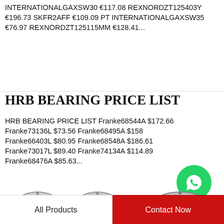INTERNATIONALGAXSW30 €117.08 REXNORDZT125403Y €196.73 SKFR2AFF €109.09 PT INTERNATIONALGAXSW35 €76.97 REXNORDZT125115MM €128.41...
HRB BEARING PRICE LIST
HRB BEARING PRICE LIST Franke68544A $172.66 Franke73136L $73.56 Franke68495A $158 Franke66403L $80.95 Franke68548A $186.61 Franke73017L $89.40 Franke74134A $114.89 Franke68476A $85.63...
[Figure (logo): WhatsApp green circle icon with phone/chat symbol and text 'WhatsApp Online']
Recommended Products
[Figure (photo): Two slewing ring bearings side by side (left side products)]
[Figure (photo): Single large bearing (right side product)]
All Products
Contact Now